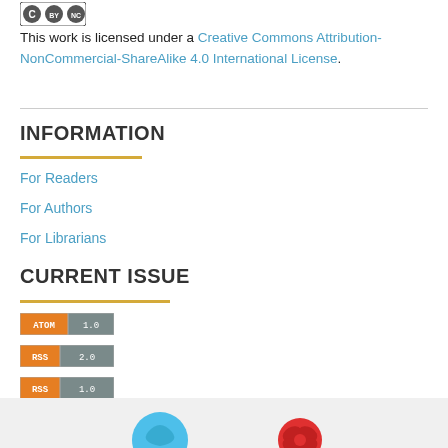[Figure (logo): Creative Commons BY NC SA license badge with three circles]
This work is licensed under a Creative Commons Attribution-NonCommercial-ShareAlike 4.0 International License.
INFORMATION
For Readers
For Authors
For Librarians
CURRENT ISSUE
[Figure (logo): ATOM 1.0 feed badge]
[Figure (logo): RSS 2.0 feed badge]
[Figure (logo): RSS 1.0 feed badge]
[Figure (logo): Footer with two social/app icons — blue circular icon and red flower/bow icon]